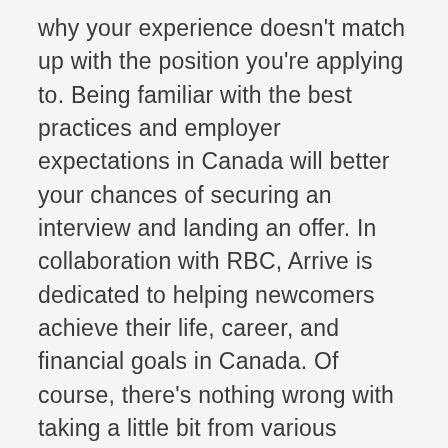why your experience doesn't match up with the position you're applying to. Being familiar with the best practices and employer expectations in Canada will better your chances of securing an interview and landing an offer. In collaboration with RBC, Arrive is dedicated to helping newcomers achieve their life, career, and financial goals in Canada. Of course, there's nothing wrong with taking a little bit from various resume examples to make it easier to construct your own. For instance, if you really like one person's career summary and the way they've homed in on the value they'd bring to the job, you can apply that set up to your own intro, as long as your content is distinct. Resume Writing has never been easier. Benefit from viewing amazing resume examples and learn exactly what employers are looking for. Customer service representative with over years of experience in account administration